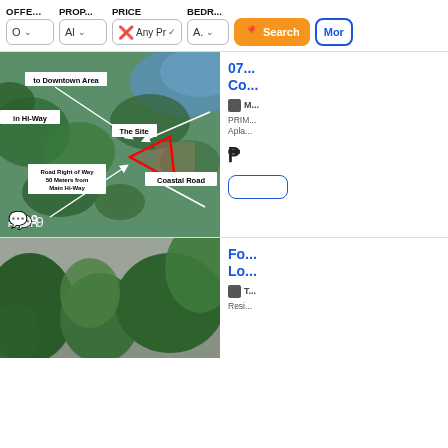OFFE... | PROP... | PRICE | BEDR...
[Figure (screenshot): Filter bar with dropdowns: O (offer), Al (property type), Any Price with X and checkmark, A (bedrooms), orange Search button, blue More button]
[Figure (photo): Aerial satellite/map view showing a triangular land parcel labeled 'The Site' near a Coastal Road, with annotations: 'to Downtown Area', 'in Hi-Way', 'Road Right of Way 50 Meters from Main Hi-Way', 'Coastal Road'. A comment badge showing 9 comments is visible.]
07... Co...
M...
PRIM... Apla...
₱
[Figure (photo): Property photo showing trees and tropical vegetation with houses partially visible, for a listing titled 'Fo... Lo...']
Fo... Lo...
T...
Resi...